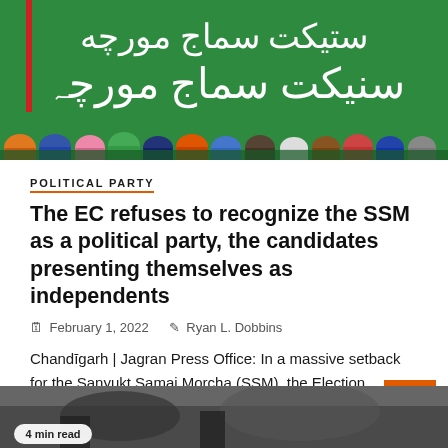[Figure (photo): Green banner with Urdu/Punjabi script reading Sanyukt Samaj Morcha, with a group of people wearing colorful turbans standing in front]
POLITICAL PARTY
The EC refuses to recognize the SSM as a political party, the candidates presenting themselves as independents
February 1, 2022  Ryan L. Dobbins
Chandīgarh | Jagran Press Office: In a massive setback for the Sanyukt Samaj Morcha (SSM), the Election Commission of India...
[Figure (photo): Bottom image partially visible, showing a scene with smoke or fire, with a '4 min read' badge overlay]